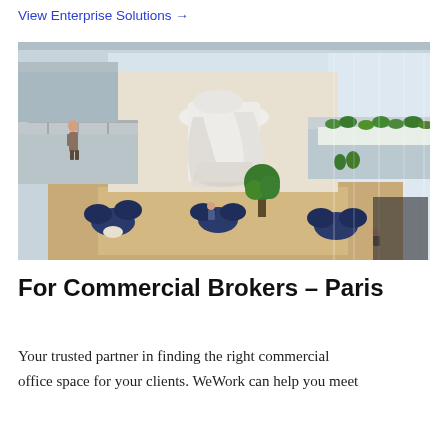View Enterprise Solutions →
[Figure (photo): Interior atrium of a modern multi-story office building with white curved staircase structure, blue lounge seating on the ground floor, people walking on upper mezzanine level, glass walls, and hanging green plants.]
For Commercial Brokers – Paris
Your trusted partner in finding the right commercial office space for your clients. WeWork can help you meet